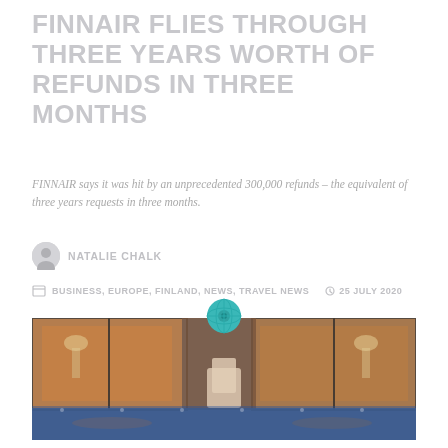FINNAIR FLIES THROUGH THREE YEARS WORTH OF REFUNDS IN THREE MONTHS
FINNAIR says it was hit by an unprecedented 300,000 refunds – the equivalent of three years requests in three months.
NATALIE CHALK
BUSINESS, EUROPE, FINLAND, NEWS, TRAVEL NEWS   25 JULY 2020
[Figure (photo): Photo of a luxury hotel pool area at night/dusk with warm interior lights visible through glass doors/windows, blue water in foreground]